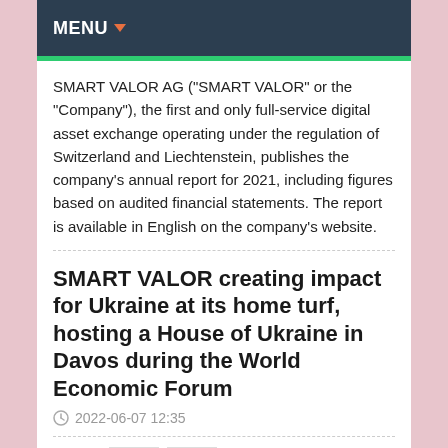MENU
SMART VALOR AG ("SMART VALOR" or the "Company"), the first and only full-service digital asset exchange operating under the regulation of Switzerland and Liechtenstein, publishes the company's annual report for 2021, including figures based on audited financial statements. The report is available in English on the company's website.
SMART VALOR creating impact for Ukraine at its home turf, hosting a House of Ukraine in Davos during the World Economic Forum
2022-06-07 12:35